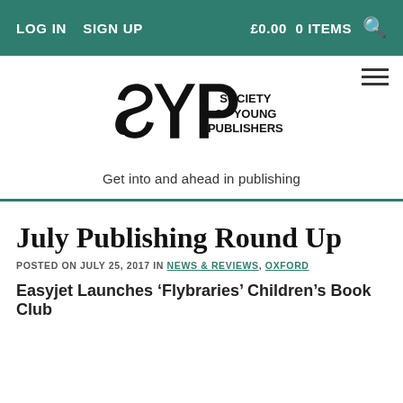LOG IN   SIGN UP   £0.00  0 ITEMS
[Figure (logo): Society of Young Publishers logo with stylized SYP letters and text 'SOCIETY OF YOUNG PUBLISHERS']
Get into and ahead in publishing
July Publishing Round Up
POSTED ON JULY 25, 2017 IN NEWS & REVIEWS, OXFORD
Easyjet Launches 'Flybraries' Children's Book Club